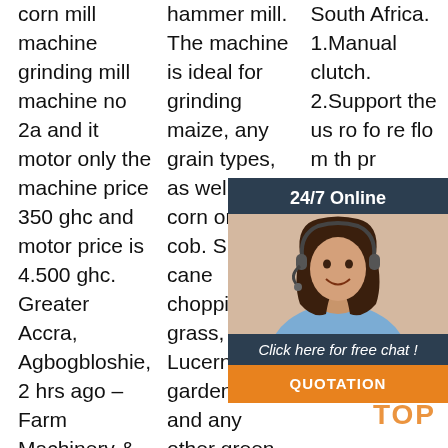corn mill machine grinding mill machine no 2a and it motor only the machine price 350 ghc and motor price is 4.500 ghc. Greater Accra, Agbogbloshie, 2 hrs ago – Farm Machinery & Equipment - Milling
hammer mill. The machine is ideal for grinding maize, any grain types, as well as corn on the cob. Sugar cane chopping, grass, Lucerne, garden waste and any other green forage. The JF 2D can be u sed to chop small branches and
South Africa. 1.Manual clutch. 2.Support the us ro fo re flo m th pr output more than 100 tons, it's also used in the breakage and grinding of
[Figure (other): Chat widget overlay with a woman wearing a headset, '24/7 Online' header, 'Click here for free chat!' text, and an orange 'QUOTATION' button]